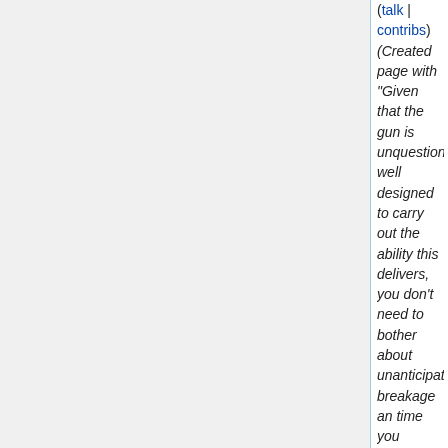(talk | contribs) (Created page with "Given that the gun is unquestionably well designed to carry out the ability this delivers, you don't need to bother about unanticipated breakage any time you consume this out...")
N 16:38 Social media marketing525 (diff | hist) . . (+5,509) . . WhereTogetqualitybacklinks (talk | contribs) (Created page with "Another crucial note and Estee Lauders strategy is it is not a one-o application, just as female will want to upgrade their appears with every period. Estee Lauder do theref...")